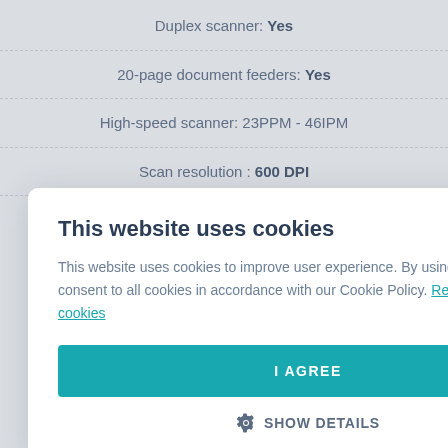Duplex scanner: Yes
20-page document feeders: Yes
High-speed scanner: 23PPM - 46IPM
Scan resolution : 600 DPI
ks
tes,
e, photos
n
g
tware)
[Figure (screenshot): Cookie consent modal dialog overlaying a product specification page. The modal has a close (X) button, title 'This website uses cookies', body text explaining cookie usage, a teal 'I AGREE' button, and a 'SHOW DETAILS' option with a gear icon.]
Cardiris Corporate ( business card